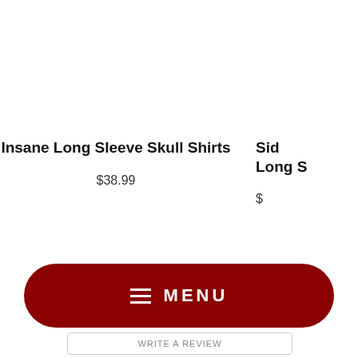Insane Long Sleeve Skull Shirts
$38.99
Sid Long S
$
MENU
WRITE A REVIEW